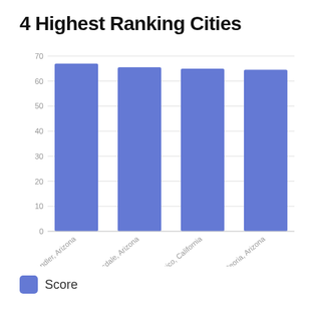4 Highest Ranking Cities
[Figure (bar-chart): 4 Highest Ranking Cities]
Score